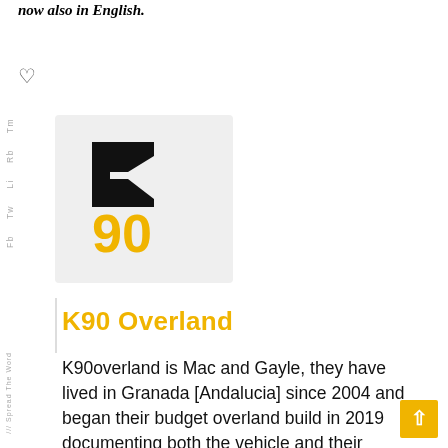now also in English.
[Figure (logo): K90 Overland logo: large bold black K with '90' in yellow below, on light grey background]
K90 Overland
K90overland is Mac and Gayle, they have lived in Granada [Andalucia] since 2004 and began their budget overland build in 2019 documenting both the vehicle and their